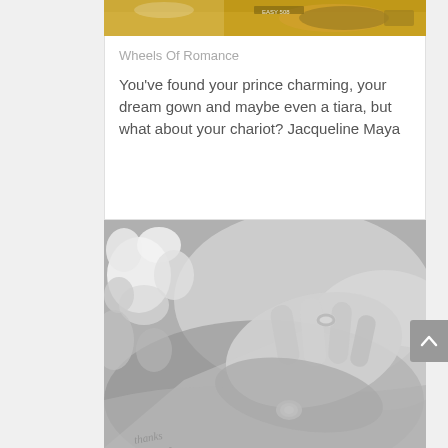[Figure (photo): Top portion of a card showing a vintage car with a license plate, in warm golden tones, partially cropped at top]
Wheels Of Romance
You've found your prince charming, your dream gown and maybe even a tiara, but what about your chariot? Jacqueline Maya
[Figure (photo): Black and white close-up photograph of two hands together, one wearing a diamond ring, with white flowers in the upper left corner]